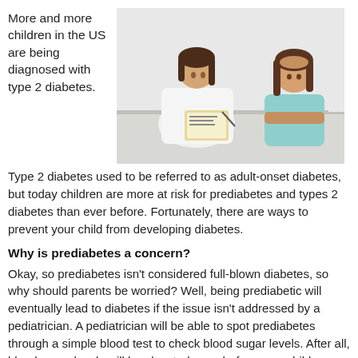More and more children in the US are being diagnosed with type 2 diabetes.
[Figure (photo): A healthcare professional in white coat writing on clipboard across a table from a young girl with her hand on her head, against a white background.]
Type 2 diabetes used to be referred to as adult-onset diabetes, but today children are more at risk for prediabetes and types 2 diabetes than ever before. Fortunately, there are ways to prevent your child from developing diabetes.
Why is prediabetes a concern?
Okay, so prediabetes isn't considered full-blown diabetes, so why should parents be worried? Well, being prediabetic will eventually lead to diabetes if the issue isn't addressed by a pediatrician. A pediatrician will be able to spot prediabetes through a simple blood test to check blood sugar levels. After all, blood sugar levels will be elevated even before your child develops type 2 diabetes. By catching elevated blood sugar levels early, your pediatrician can provide you and your child with